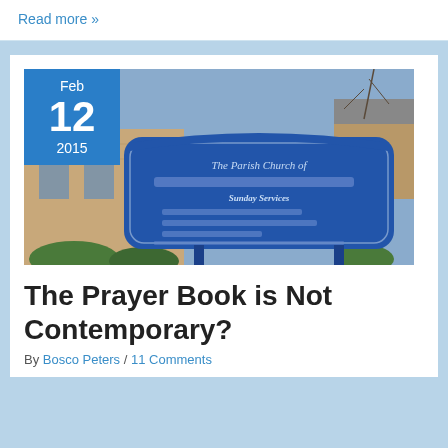Read more »
[Figure (photo): A blue church sign board reading 'The Parish Church of...' with Sunday Services times listed, mounted on poles in front of a brick church building. A blue date badge overlay shows Feb 12 2015.]
The Prayer Book is Not Contemporary?
By Bosco Peters / 11 Comments